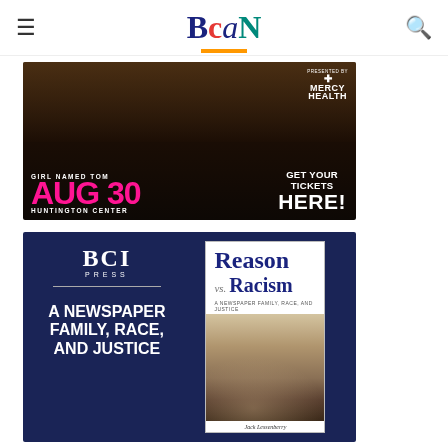BCAN
[Figure (photo): Girl Named Tom concert advertisement: AUG 30 at Huntington Center, presented by Mercy Health. Get Your Tickets Here!]
[Figure (photo): BCI Press advertisement for book 'Reason vs. Racism: A Newspaper Family, Race, and Justice' by Jack Lessenberry]